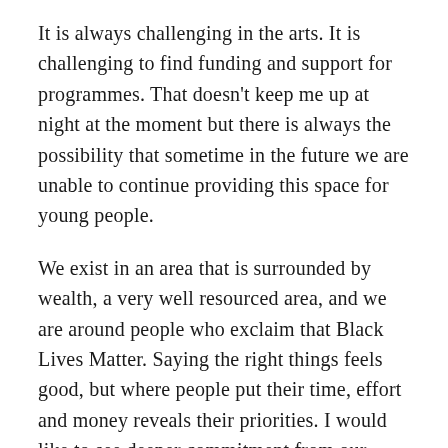It is always challenging in the arts. It is challenging to find funding and support for programmes. That doesn't keep me up at night at the moment but there is always the possibility that sometime in the future we are unable to continue providing this space for young people.
We exist in an area that is surrounded by wealth, a very well resourced area, and we are around people who exclaim that Black Lives Matter. Saying the right things feels good, but where people put their time, effort and money reveals their priorities. I would like to see deeper commitment from our corporate neighbours. We share a community, and I believe they have as much vested interest in seeing everyone thrive as we do.